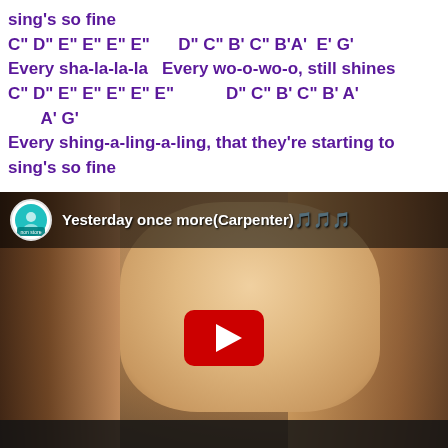sing's so fine
C" D" E" E" E" E"      D" C" B' C" B'A'  E' G'
Every sha-la-la-la   Every wo-o-wo-o, still shines
C" D" E" E" E" E" E"            D" C" B' C" B' A'
        A' G'
Every shing-a-ling-a-ling, that they're starting to sing's so fine
[Figure (screenshot): YouTube video thumbnail showing a blonde woman's face, with the title 'Yesterday once more(Carpenter)' and a YouTube play button in the center. A circular channel icon is visible top-left.]